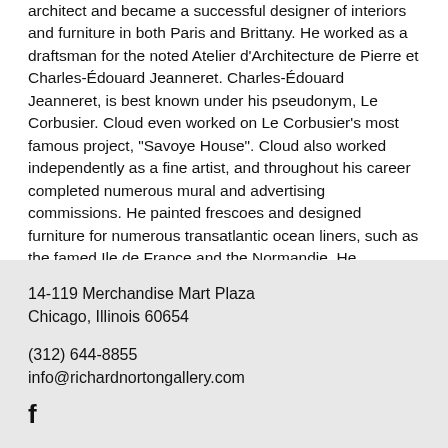architect and became a successful designer of interiors and furniture in both Paris and Brittany. He worked as a draftsman for the noted Atelier d'Architecture de Pierre et Charles-Édouard Jeanneret. Charles-Édouard Jeanneret, is best known under his pseudonym, Le Corbusier. Cloud even worked on Le Corbusier's most famous project, "Savoye House". Cloud also worked independently as a fine artist, and throughout his career completed numerous mural and advertising commissions. He painted frescoes and designed furniture for numerous transatlantic ocean liners, such as the famed Ile de France and the Normandie. He exhibited at the Salon des Sur-Independants and at other venues throughout France. The artist died in France in 1973.
81 additional artworks by Georges Maurice Cloud
14-119 Merchandise Mart Plaza
Chicago, Illinois 60654
(312) 644-8855
info@richardnortongallery.com